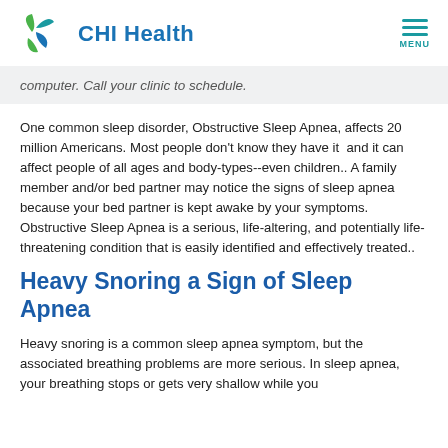CHI Health
computer. Call your clinic to schedule.
One common sleep disorder, Obstructive Sleep Apnea, affects 20 million Americans. Most people don't know they have it  and it can affect people of all ages and body-types--even children.. A family member and/or bed partner may notice the signs of sleep apnea because your bed partner is kept awake by your symptoms. Obstructive Sleep Apnea is a serious, life-altering, and potentially life-threatening condition that is easily identified and effectively treated..
Heavy Snoring a Sign of Sleep Apnea
Heavy snoring is a common sleep apnea symptom, but the associated breathing problems are more serious. In sleep apnea, your breathing stops or gets very shallow while you